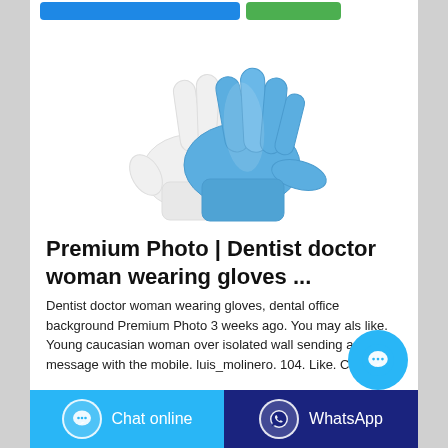[Figure (photo): Two medical gloves overlapping — one white and one blue nitrile glove, shown palm-up against a white background]
Premium Photo | Dentist doctor woman wearing gloves ...
Dentist doctor woman wearing gloves, dental office background Premium Photo 3 weeks ago. You may als like. Young caucasian woman over isolated wall sending a message with the mobile. luis_molinero. 104. Like. Collect
[Figure (other): Floating circular chat bubble button in cyan/blue]
Chat online | WhatsApp